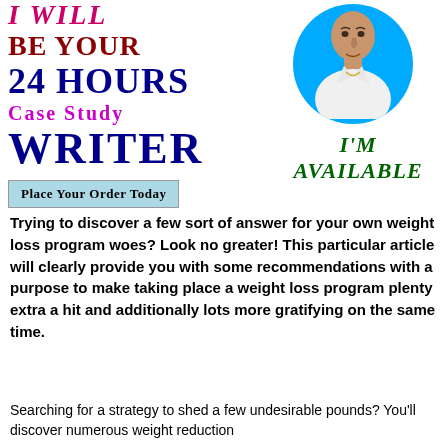I Will Be Your 24 Hours Case Study Writer
Place Your Order Today
[Figure (photo): Man in white shirt with blue circle background]
I'm Available
Trying to discover a few sort of answer for your own weight loss program woes? Look no greater! This particular article will clearly provide you with some recommendations with a purpose to make taking place a weight loss program plenty extra a hit and additionally lots more gratifying on the same time.
Searching for a strategy to shed a few undesirable pounds? You'll discover numerous weight reduction